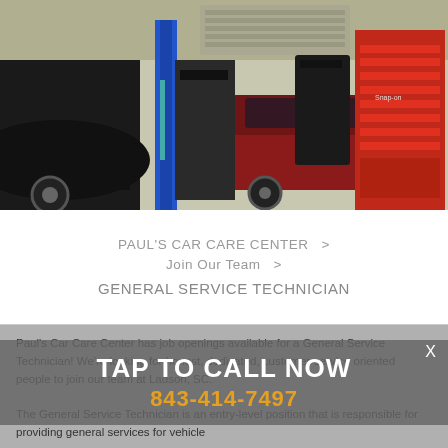[Figure (photo): Interior of an auto repair garage showing cars on lifts, a blue hydraulic lift column, a red tool chest, and various vehicles being serviced.]
PAUL'S CAR CARE CENTER  >
Join Our Team  >
GENERAL SERVICE TECHNICIAN
Paul's Car Care Center has job openings available for a General Service Technician! We're looking for honest, dedicated, customer-service oriented people to join our team at Ladson, SC.
TAP TO CALL NOW
843-414-7497
The General Service Technician is an entry-level position that is responsible for providing general services for vehicle